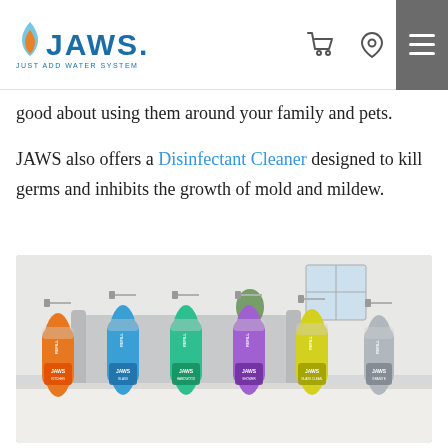JAWS - Just Add Water System navigation header with cart, location, and menu icons
good about using them around your family and pets.
JAWS also offers a Disinfectant Cleaner designed to kill germs and inhibits the growth of mold and mildew.
[Figure (photo): Six JAWS spray bottles in a row on a white countertop in front of a living room background. Bottles from left to right: Kitchen (orange), Glass (blue), Hardwood (teal/green), Shower (purple), Glass Cleaner (yellow), Granite (silver/grey). Each bottle has a spray trigger and REFILL label.]